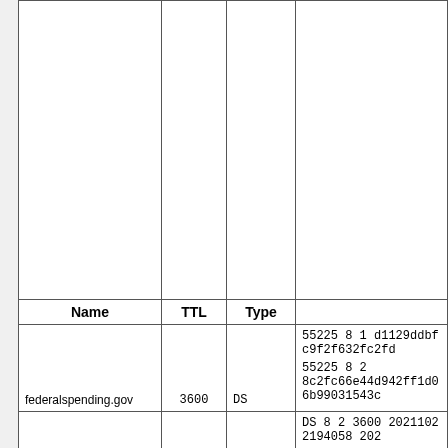| Name | TTL | Type |  |
| --- | --- | --- | --- |
|  |  |  |  |
| federalspending.gov | 3600 | DS | 55225 8 1 d1129ddbfc9f2f632fc2fd...
55225 8 2 8c2fc66e44d942ff1d06b99031543c... |
|  | 3600 | RRSIG | DS 8 2 3600 20211022194058 202...
Ixk02prPfKxieGTJPYxwc0qigCrJf... |